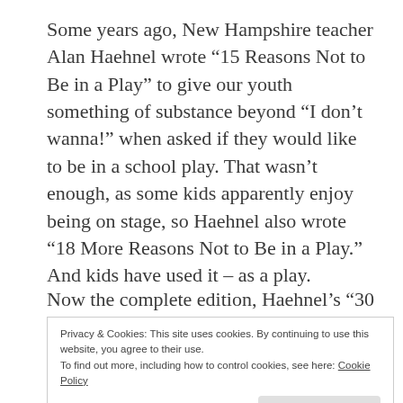Some years ago, New Hampshire teacher Alan Haehnel wrote “15 Reasons Not to Be in a Play” to give our youth something of substance beyond “I don’t wanna!” when asked if they would like to be in a school play. That wasn’t enough, as some kids apparently enjoy being on stage, so Haehnel also wrote “18 More Reasons Not to Be in a Play.” And kids have used it – as a play.
Now the complete edition, Haehnel’s “30
Privacy & Cookies: This site uses cookies. By continuing to use this website, you agree to their use.
To find out more, including how to control cookies, see here: Cookie Policy
which its participants insist is not a play, 19